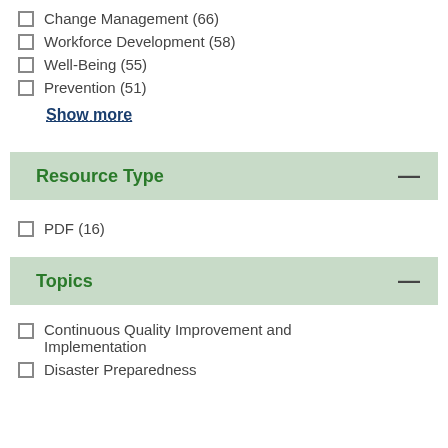Change Management (66)
Workforce Development (58)
Well-Being (55)
Prevention (51)
Show more
Resource Type
PDF (16)
Topics
Continuous Quality Improvement and Implementation
Disaster Preparedness